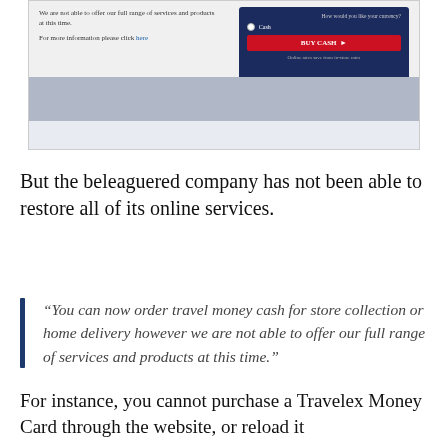[Figure (screenshot): Screenshot of a Travelex website showing a message that they cannot offer their full range of services and products at this time, with a link to click 'here' for more information, and a currency purchase panel with a 'BUY CASH' button in red, set against a dark navy background. A grey bar with earbuds is visible at the bottom of the screenshot.]
But the beleaguered company has not been able to restore all of its online services.
“You can now order travel money cash for store collection or home delivery however we are not able to offer our full range of services and products at this time.”
For instance, you cannot purchase a Travelex Money Card through the website, or reload it